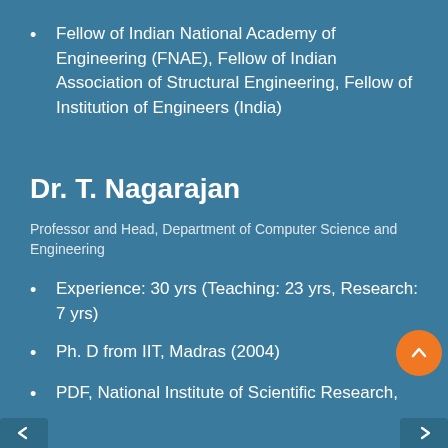Fellow of Indian National Academy of Engineering (FNAE), Fellow of Indian Association of Structural Engineering, Fellow of Institution of Engineers (India)
Dr. T. Nagarajan
Professor and Head, Department of Computer Science and Engineering
Experience: 30 yrs (Teaching: 23 yrs, Research: 7 yrs)
Ph. D from IIT, Madras (2004)
PDF, National Institute of Scientific Research,